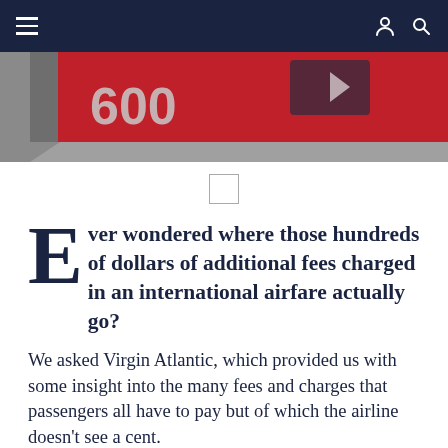≡  [nav bar with hamburger menu and user/search icons]
[Figure (photo): Partial view of a red and grey object (appears to be a credit card or similar item with the number 600 visible), photographed at an angle against a white background.]
Ever wondered where those hundreds of dollars of additional fees charged in an international airfare actually go?
We asked Virgin Atlantic, which provided us with some insight into the many fees and charges that passengers all have to pay but of which the airline doesn't see a cent.